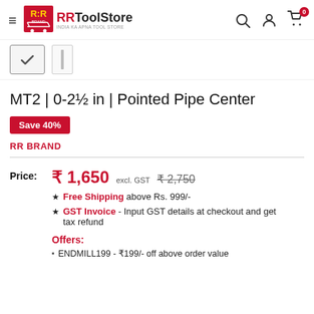RRToolStore — INDIA KA APNA TOOL STORE
[Figure (screenshot): Thumbnail images of the product (checked thumbnail and a pipe center tool thumbnail)]
MT2 | 0-2½ in | Pointed Pipe Center
Save 40%
RR BRAND
Price: ₹ 1,650 excl. GST  ₹ 2,750
★ Free Shipping above Rs. 999/-
★ GST Invoice - Input GST details at checkout and get tax refund
Offers:
ENDMILL199 - ₹199/- off above order value